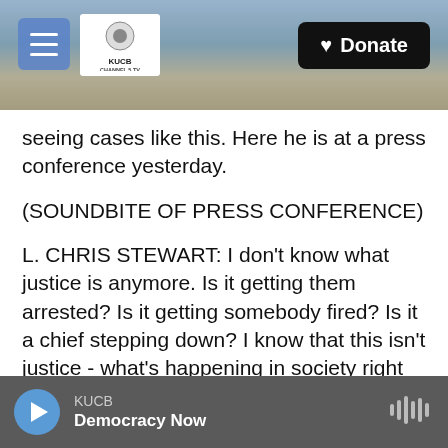[Figure (screenshot): KUCB website header banner with mountain/snow landscape background, hamburger menu button, KUCB Channel 5 TV logo, and a Donate button in the top right]
seeing cases like this. Here he is at a press conference yesterday.
(SOUNDBITE OF PRESS CONFERENCE)
L. CHRIS STEWART: I don't know what justice is anymore. Is it getting them arrested? Is it getting somebody fired? Is it a chief stepping down? I know that this isn't justice - what's happening in society right now.
OPPENHEIMER: So this morning, we found out that the police department has fired the officer who
KUCB
Democracy Now